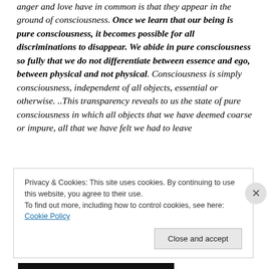anger and love have in common is that they appear in the ground of consciousness. Once we learn that our being is pure consciousness, it becomes possible for all discriminations to disappear. We abide in pure consciousness so fully that we do not differentiate between essence and ego, between physical and not physical. Consciousness is simply consciousness, independent of all objects, essential or otherwise. ..This transparency reveals to us the state of pure consciousness in which all objects that we have deemed coarse or impure, all that we have felt we had to leave
Privacy & Cookies: This site uses cookies. By continuing to use this website, you agree to their use.
To find out more, including how to control cookies, see here: Cookie Policy